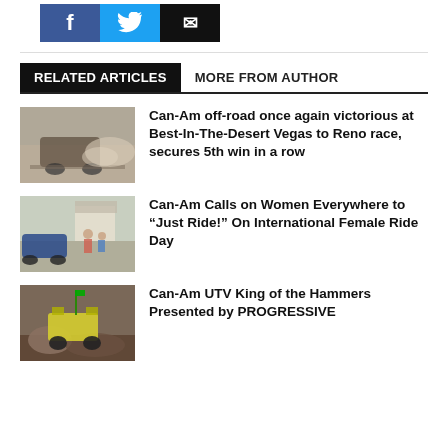[Figure (other): Social share buttons: Facebook (blue), Twitter (light blue), Email (black)]
RELATED ARTICLES | MORE FROM AUTHOR
[Figure (photo): Off-road vehicle racing through dusty desert terrain]
Can-Am off-road once again victorious at Best-In-The-Desert Vegas to Reno race, secures 5th win in a row
[Figure (photo): Can-Am vehicles at an event with women riders]
Can-Am Calls on Women Everywhere to “Just Ride!” On International Female Ride Day
[Figure (photo): Can-Am UTV on rocky terrain at King of the Hammers event]
Can-Am UTV King of the Hammers Presented by PROGRESSIVE